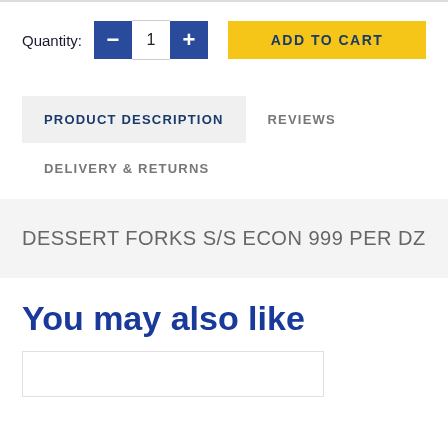Quantity:  −  1  +    ADD TO CART
PRODUCT DESCRIPTION
REVIEWS
DELIVERY & RETURNS
DESSERT FORKS S/S ECON 999 PER DZ
You may also like